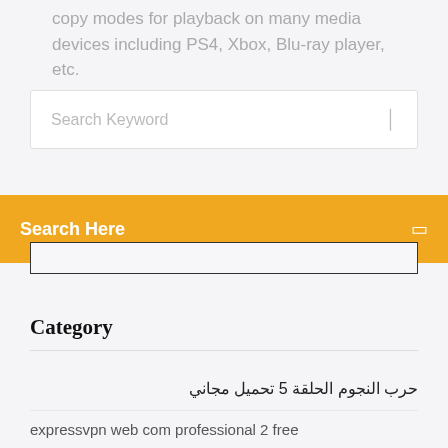copy modes for playback on many media devices including PS4, Xbox, Blu-ray player, etc.
Search Keyword
Search Here
Category
حرب النجوم الحلقة 5 تحميل مجاني
expressvpn web com professional 2 free